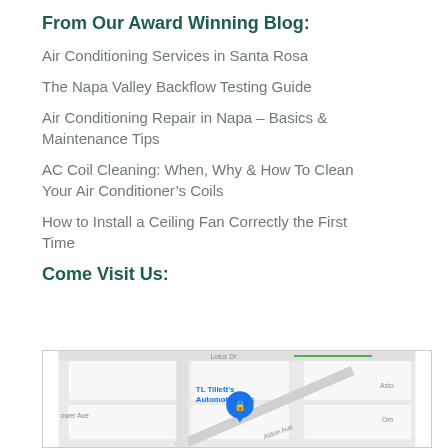From Our Award Winning Blog:
Air Conditioning Services in Santa Rosa
The Napa Valley Backflow Testing Guide
Air Conditioning Repair in Napa – Basics & Maintenance Tips
AC Coil Cleaning: When, Why & How To Clean Your Air Conditioner's Coils
How to Install a Ceiling Fan Correctly the First Time
Come Visit Us:
[Figure (map): Google Maps embed showing location of TL Tillett's Automotive, Inc near Aston Ave and Lotus Dr, with a blue map pin marker.]